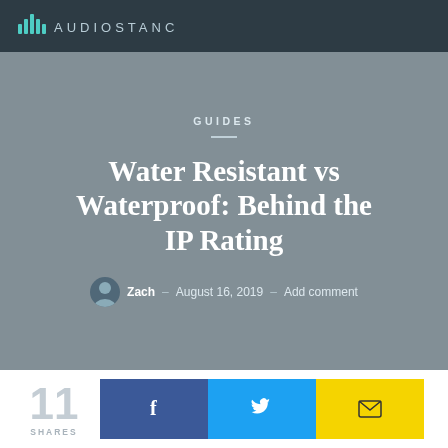AUDIOSTANCE
GUIDES
Water Resistant vs Waterproof: Behind the IP Rating
Zach — August 16, 2019 — Add comment
11 SHARES
[Figure (infographic): Social share buttons: Facebook (blue), Twitter (cyan), Email (yellow)]